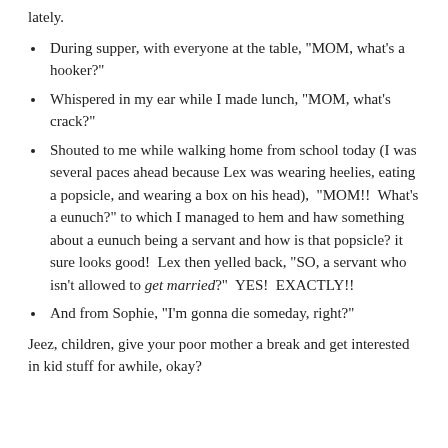lately.
During supper, with everyone at the table, "MOM, what's a hooker?"
Whispered in my ear while I made lunch, "MOM, what's crack?"
Shouted to me while walking home from school today (I was several paces ahead because Lex was wearing heelies, eating a popsicle, and wearing a box on his head),  "MOM!!  What's a eunuch?" to which I managed to hem and haw something about a eunuch being a servant and how is that popsicle? it sure looks good!  Lex then yelled back, "SO, a servant who isn't allowed to get married?"  YES!  EXACTLY!!
And from Sophie, "I'm gonna die someday, right?"
Jeez, children, give your poor mother a break and get interested in kid stuff for awhile, okay?